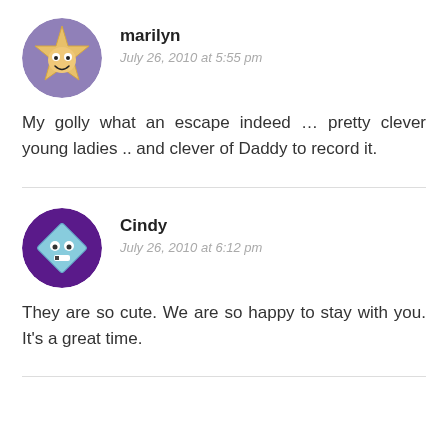[Figure (illustration): Circular avatar with purple background showing a star-shaped cartoon face character (golden star with eyes and smile) for user marilyn]
marilyn
July 26, 2010 at 5:55 pm
My golly what an escape indeed … pretty clever young ladies .. and clever of Daddy to record it.
[Figure (illustration): Circular avatar with dark purple background showing a diamond-shaped cartoon face character (light blue/teal diamond with eyes and smile) for user Cindy]
Cindy
July 26, 2010 at 6:12 pm
They are so cute. We are so happy to stay with you. It's a great time.